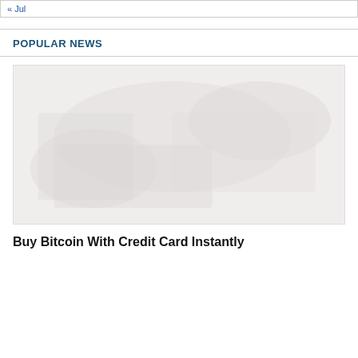« Jul
POPULAR NEWS
[Figure (photo): A faded, light-toned image, likely related to Bitcoin or cryptocurrency, with very washed-out appearance.]
Buy Bitcoin With Credit Card Instantly